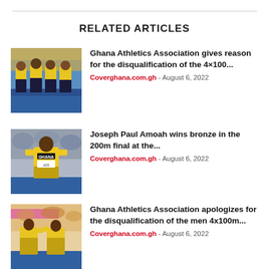RELATED ARTICLES
[Figure (photo): Four Ghana athletes in yellow uniforms standing together on a track at a stadium]
Ghana Athletics Association gives reason for the disqualification of the 4×100... Coverghana.com.gh - August 6, 2022
[Figure (photo): Ghanaian sprinter Joseph Paul Amoah in yellow GHANA uniform on track]
Joseph Paul Amoah wins bronze in the 200m final at the... Coverghana.com.gh - August 6, 2022
[Figure (photo): Ghana athletes on track at a major athletics competition]
Ghana Athletics Association apologizes for the disqualification of the men 4x100m... Coverghana.com.gh - August 6, 2022